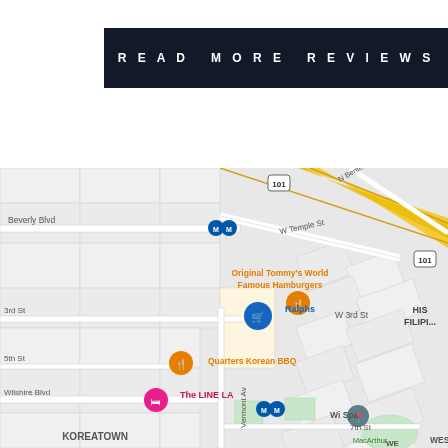READ MORE REVIEWS
[Figure (map): Google Maps view of Los Angeles area showing Beverly Blvd, Rampart Village, Koreatown, and surrounding streets. Landmarks include Original Tommy's World Famous Hamburgers, Ralphs, Quarters Korean BBQ, The LINE LA, Wi Spa, MacArthur Park area, WESTLAKE. Metro stations (M) visible near W Temple St and Wilshire/Vermont. Highway 101 shown in yellow diagonal. Street labels: Beverly Blvd, W Temple St, 3rd St, W 3rd St, 5th St, Wilshire Blvd, 7th St, N Benton Way, Vermont Ave.]